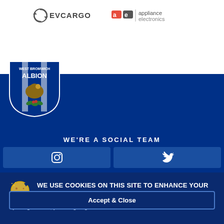[Figure (logo): EVCARGO logo with circular arrow icon and text EVCARGO]
[Figure (logo): appliance electronics logo with ae icon and text appliance electronics]
[Figure (logo): West Bromwich Albion football club badge/crest]
WE'RE A SOCIAL TEAM
[Figure (infographic): Two social media buttons - Instagram and Twitter icons on dark blue background]
WE USE COOKIES ON THIS SITE TO ENHANCE YOUR EXPERIENCE
By using this site, you are giving consent to us to set cookies.
Accept & Close